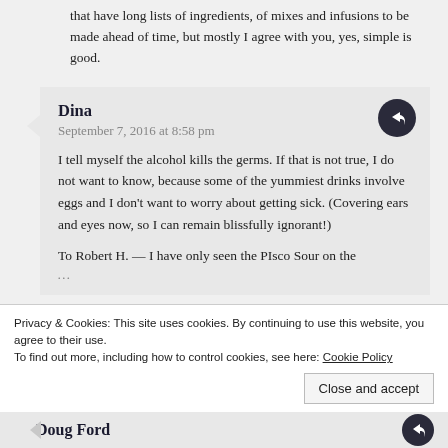that have long lists of ingredients, of mixes and infusions to be made ahead of time, but mostly I agree with you, yes, simple is good.
Dina
September 7, 2016 at 8:58 pm
I tell myself the alcohol kills the germs. If that is not true, I do not want to know, because some of the yummiest drinks involve eggs and I don't want to worry about getting sick. (Covering ears and eyes now, so I can remain blissfully ignorant!)
To Robert H. — I have only seen the PIsco Sour on the
Privacy & Cookies: This site uses cookies. By continuing to use this website, you agree to their use.
To find out more, including how to control cookies, see here: Cookie Policy
Close and accept
Doug Ford